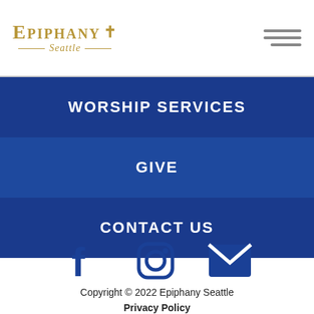Epiphany + Seattle
WORSHIP SERVICES
GIVE
CONTACT US
[Figure (infographic): Social media icons: Facebook, Instagram, Email]
Copyright © 2022 Epiphany Seattle
Privacy Policy
Site Map